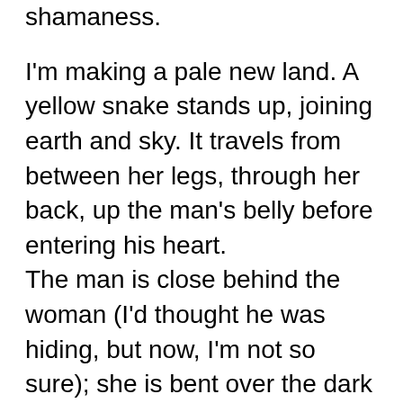shamaness.
I'm making a pale new land. A yellow snake stands up, joining earth and sky. It travels from between her legs, through her back, up the man's belly before entering his heart.
The man is close behind the woman (I'd thought he was hiding, but now, I'm not so sure); she is bent over the dark horse, who is painted vigorously. Her hand rests on the horse's back.